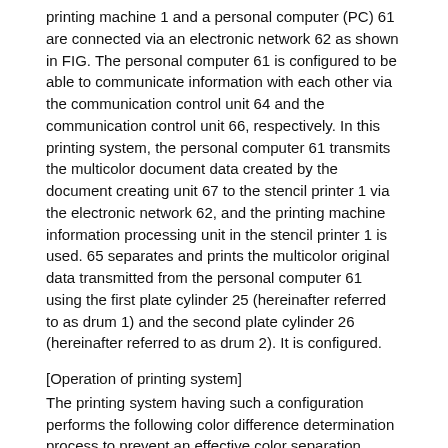printing machine 1 and a personal computer (PC) 61 are connected via an electronic network 62 as shown in FIG. The personal computer 61 is configured to be able to communicate information with each other via the communication control unit 64 and the communication control unit 66, respectively. In this printing system, the personal computer 61 transmits the multicolor document data created by the document creating unit 67 to the stencil printer 1 via the electronic network 62, and the printing machine information processing unit in the stencil printer 1 is used. 65 separates and prints the multicolor original data transmitted from the personal computer 61 using the first plate cylinder 25 (hereinafter referred to as drum 1) and the second plate cylinder 26 (hereinafter referred to as drum 2). It is configured.
[Operation of printing system]
The printing system having such a configuration performs the following color difference determination process to prevent an effective color separation printing result from being obtained due to the short color difference distance between the ink colors of the drums 1 and 2. To do. The operation of the printing system when executing the color